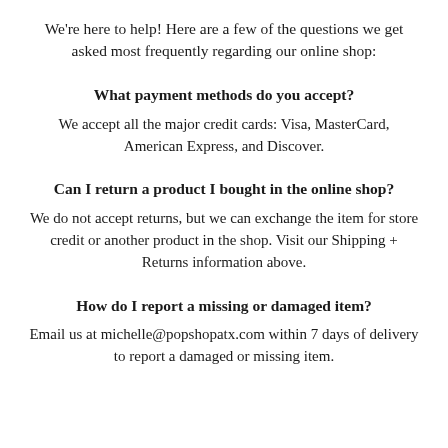We're here to help! Here are a few of the questions we get asked most frequently regarding our online shop:
What payment methods do you accept?
We accept all the major credit cards: Visa, MasterCard, American Express, and Discover.
Can I return a product I bought in the online shop?
We do not accept returns, but we can exchange the item for store credit or another product in the shop. Visit our Shipping + Returns information above.
How do I report a missing or damaged item?
Email us at michelle@popshopatx.com within 7 days of delivery to report a damaged or missing item.